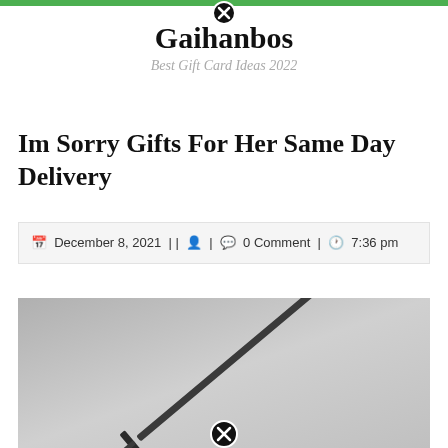Gaihanbos — Best Gift Card Ideas 2022
Im Sorry Gifts For Her Same Day Delivery
December 8, 2021 || [user icon] | [comment icon] 0 Comment | [clock icon] 7:36 pm
[Figure (photo): A dark medieval-style sword with a round pommel and crossguard, photographed on a grey gradient background. A black circle close button is visible at the bottom center.]